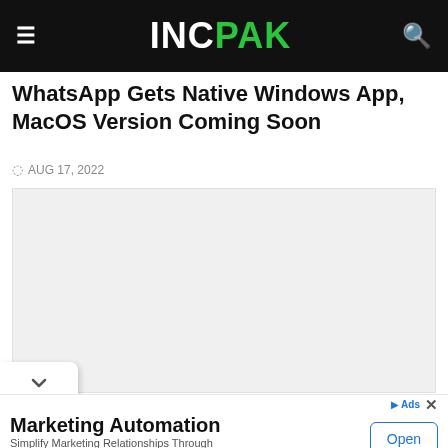INCPAK
WhatsApp Gets Native Windows App, MacOS Version Coming Soon
AUG 17, 2022
[Figure (photo): Article image placeholder (light gray background)]
Marketing Automation
Simplify Marketing Relationships Through Platform Unity GlassHive